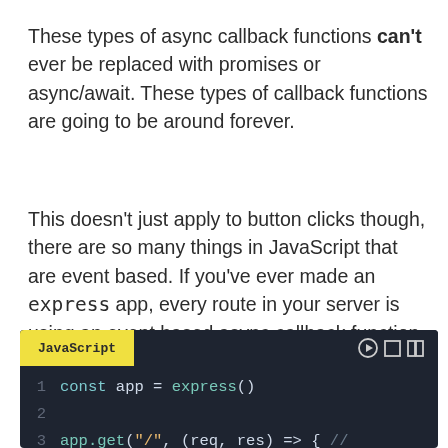These types of async callback functions can't ever be replaced with promises or async/await. These types of callback functions are going to be around forever.
This doesn't just apply to button clicks though, there are so many things in JavaScript that are event based. If you've ever made an express app, every route in your server is using an event based async callback function
[Figure (screenshot): Code editor screenshot showing JavaScript code block with dark background. Header shows 'JavaScript' tab in yellow. Line 1: const app = express(). Line 2: blank. Line 3: app.get("/", (req, res) => { //]